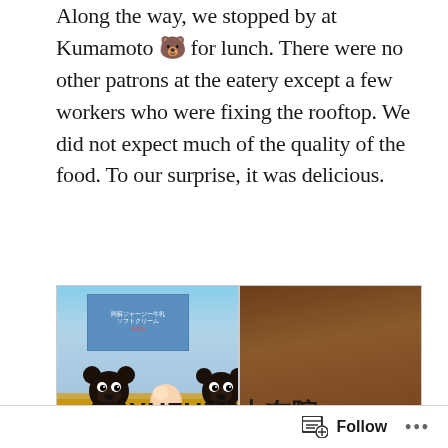Along the way, we stopped by at Kumamoto 🐻 for lunch. There were no other patrons at the eatery except a few workers who were fixing the rooftop. We did not expect much of the quality of the food. To our surprise, it was delicious.
[Figure (photo): Two photos side by side: left shows Kumamon bear figurines with an ice cream cone on a yellow table in front of a Japanese sign; right shows a bowl of noodle soup with green onions and meat toppings on a wooden table.]
YUFUIN 由布院
Follow ···